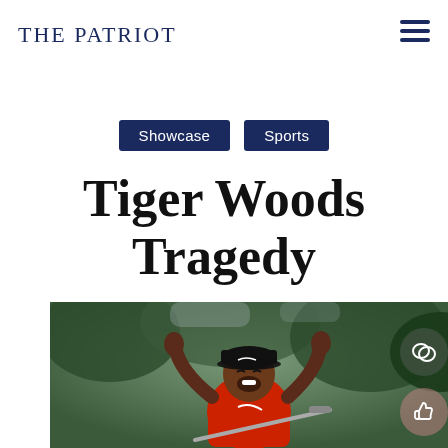The Patriot
Showcase  Sports
Tiger Woods Tragedy
[Figure (photo): Tiger Woods celebrating with fist pumps, wearing a red Nike shirt and black cap, holding a golf club behind his back, mouth open in a victorious shout, with blurred trees in the background.]